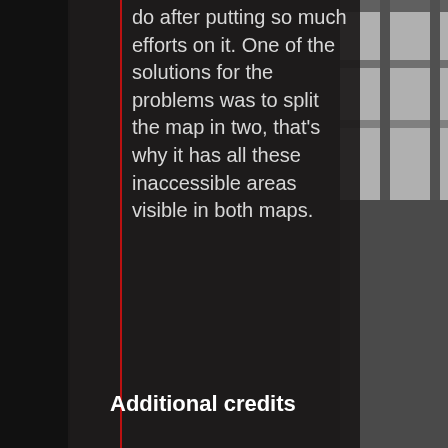[Figure (photo): Blurred interior photograph of a corridor or industrial space with metal ceiling trusses visible, occupying the right portion of the page.]
do after putting so much efforts on it. One of the solutions for the problems was to split the map in two, that's why it has all these inaccessible areas visible in both maps.
Additional credits